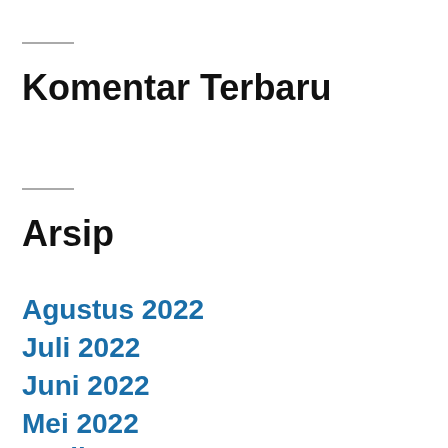Komentar Terbaru
Arsip
Agustus 2022
Juli 2022
Juni 2022
Mei 2022
April 2022